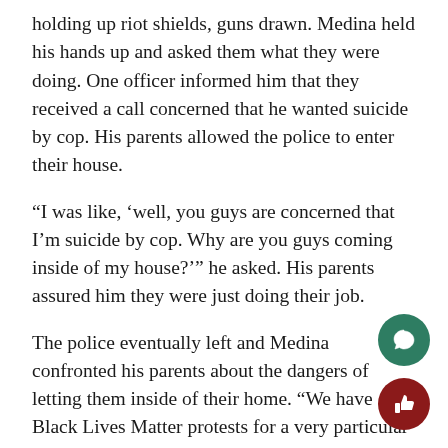holding up riot shields, guns drawn. Medina held his hands up and asked them what they were doing. One officer informed him that they received a call concerned that he wanted suicide by cop. His parents allowed the police to enter their house.
“I was like, ‘well, you guys are concerned that I’m suicide by cop. Why are you guys coming inside of my house?’” he asked. His parents assured him they were just doing their job.
The police eventually left and Medina confronted his parents about the dangers of letting them inside of their home. “We have Black Lives Matter protests for a very particular reason,” he said. “People do die f… police.” Medina alleged they were all arguing whe… his father physically assaulted him. Medina fough… back, and later that night was arrested for domest…